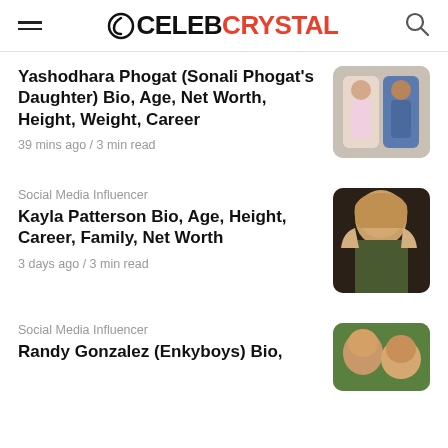CelebCrystal
Yashodhara Phogat (Sonali Phogat’s Daughter) Bio, Age, Net Worth, Height, Weight, Career
39 mins ago / 3 min read
[Figure (photo): Two women standing together, one in pink top and one in blue denim jacket]
Social Media Influencer
Kayla Patterson Bio, Age, Height, Career, Family, Net Worth
3 days ago / 3 min read
[Figure (photo): Young woman with long blonde hair, green top]
Social Media Influencer
Randy Gonzalez (Enkyboys) Bio,